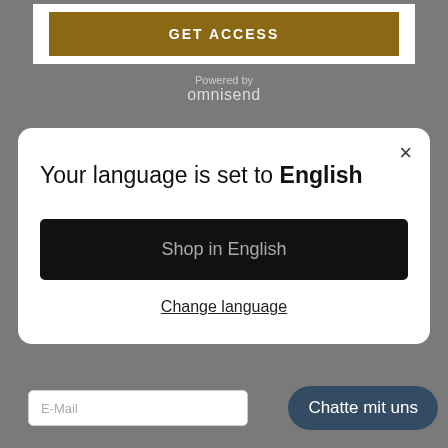GET ACCESS
Powered by
omnisend
×
Your language is set to English
Shop in English
Change language
E-Mail
Chatte mit uns